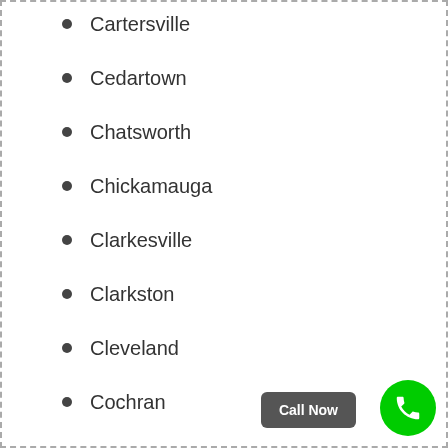Cartersville
Cedartown
Chatsworth
Chickamauga
Clarkesville
Clarkston
Cleveland
Cochran
Columbus
Conyers